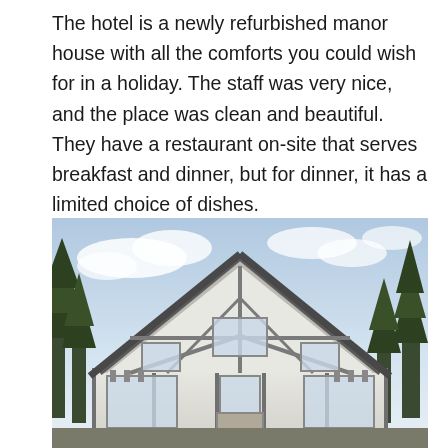The hotel is a newly refurbished manor house with all the comforts you could wish for in a holiday. The staff was very nice, and the place was clean and beautiful. They have a restaurant on-site that serves breakfast and dinner, but for dinner, it has a limited choice of dishes.
[Figure (photo): Exterior photo of a Tudor-style manor house with a prominent gabled roofline, white walls with grey timber framing, large windows, and evergreen trees on either side under a partly cloudy sky.]